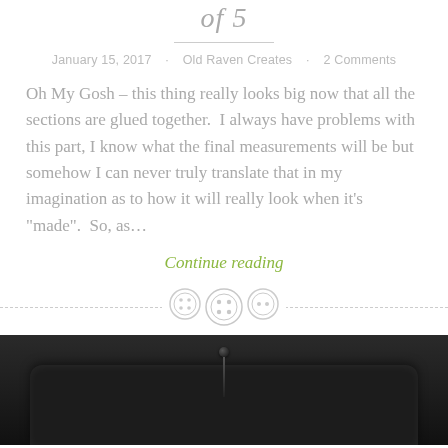of 5
January 15, 2017 · Old Raven Creates · 2 Comments
Oh My Gosh – this thing really looks big now that all the sections are glued together.  I always have problems with this part, I know what the final measurements will be but somehow I can never truly translate that in my imagination as to how it will really look when it's "made".  So, as…
Continue reading
[Figure (illustration): Three decorative button icons arranged horizontally as a section separator, flanked by dashed lines on each side.]
[Figure (photo): A black fabric item (possibly a purse or bag) with a pin or needle in the center, photographed from above on a light background. Only the top portion of the item is visible.]